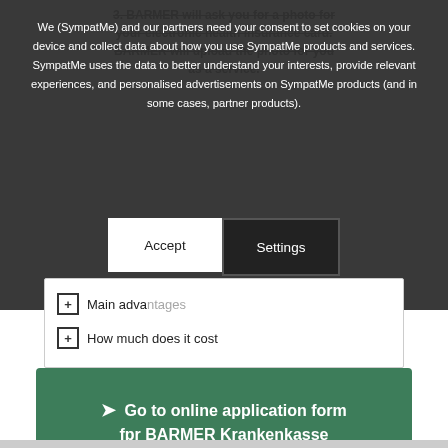3. BARMER will ask you for a photo for your electronic health insurance card. BARMER will upload the photo for you as a service
We (SympatMe) and our partners need your consent to set cookies on your device and collect data about how you use SympatMe products and services. SympatMe uses the data to better understand your interests, provide relevant experiences, and personalised advertisements on SympatMe products (and in some cases, partner products).
Main advantages
How much does it cost
➤ Go to online application form fpr BARMER Krankenkasse